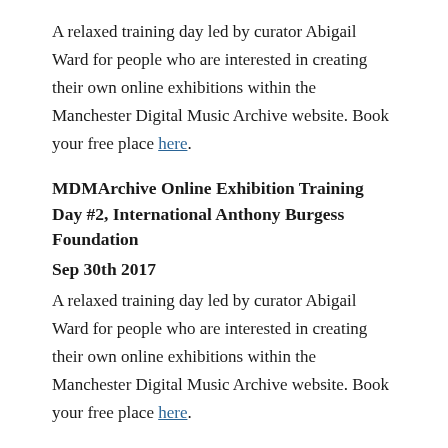A relaxed training day led by curator Abigail Ward for people who are interested in creating their own online exhibitions within the Manchester Digital Music Archive website. Book your free place here.
MDMArchive Online Exhibition Training Day #2, International Anthony Burgess Foundation
Sep 30th 2017
A relaxed training day led by curator Abigail Ward for people who are interested in creating their own online exhibitions within the Manchester Digital Music Archive website. Book your free place here.
Please come along to one of these sessions to...